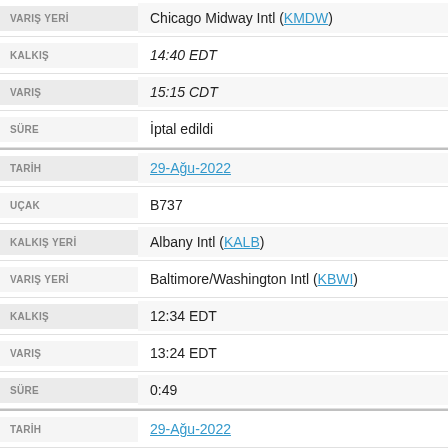| Field | Value |
| --- | --- |
| VARIŞ YERİ | Chicago Midway Intl (KMDW) |
| KALKIŞ | 14:40 EDT |
| VARIŞ | 15:15 CDT |
| SÜRE | İptal edildi |
| TARİH | 29-Ağu-2022 |
| UÇAK | B737 |
| KALKIŞ YERİ | Albany Intl (KALB) |
| VARIŞ YERİ | Baltimore/Washington Intl (KBWI) |
| KALKIŞ | 12:34 EDT |
| VARIŞ | 13:24 EDT |
| SÜRE | 0:49 |
| TARİH | 29-Ağu-2022 |
| UÇAK | B737 |
| KALKIŞ YERİ | Chicago Midway Intl (KMDW) |
| VARIŞ YERİ | Albany Intl (KALB) |
| KALKIŞ | 09:00 CDT |
| VARIŞ | 11:29 EDT |
| SÜRE | 1:28 |
| TARİH | 29-Ağu-2022 |
| UÇAK | B737 |